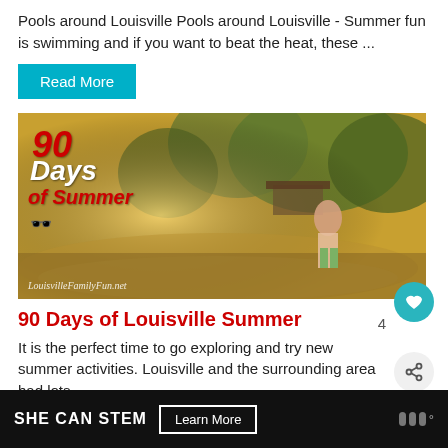Pools around Louisville Pools around Louisville - Summer fun is swimming and if you want to beat the heat, these ...
Read More
[Figure (photo): A child standing by a reflective pond in a sunny park with trees. Overlaid text reads '90 Days of Summer' with sunglasses graphic. Watermark: LouisvilleFamilyFun.net]
90 Days of Louisville Summer
It is the perfect time to go exploring and try new summer activities. Louisville and the surrounding area had lots ...
Read More
SHE CAN STEM   Learn More